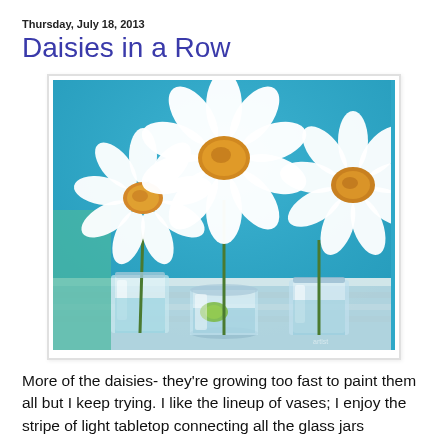Thursday, July 18, 2013
Daisies in a Row
[Figure (illustration): Oil painting of three white daisies in separate glass jars/vases arranged in a row on a light-striped tabletop against a bright blue background. Each daisy has white petals and a golden-yellow center. The glass jars are clear and reflect light.]
More of the daisies- they're growing too fast to paint them all but I keep trying.  I like the lineup of vases; I enjoy the stripe of light tabletop connecting all the glass jars